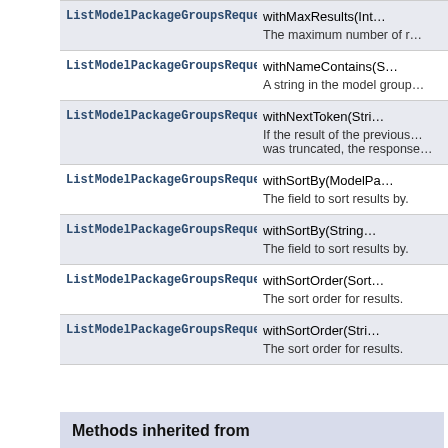| Class | Method/Description |
| --- | --- |
| ListModelPackageGroupsRequest | withMaxResults(Int…
The maximum number of r… |
| ListModelPackageGroupsRequest | withNameContains(S…
A string in the model group… |
| ListModelPackageGroupsRequest | withNextToken(Stri…
If the result of the previous…
was truncated, the response… |
| ListModelPackageGroupsRequest | withSortBy(ModelPa…
The field to sort results by. |
| ListModelPackageGroupsRequest | withSortBy(String…
The field to sort results by. |
| ListModelPackageGroupsRequest | withSortOrder(Sort…
The sort order for results. |
| ListModelPackageGroupsRequest | withSortOrder(Stri…
The sort order for results. |
Methods inherited from